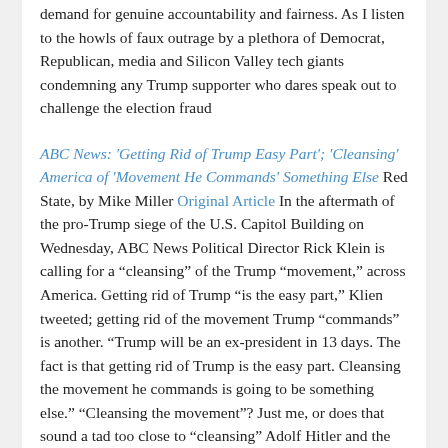demand for genuine accountability and fairness. As I listen to the howls of faux outrage by a plethora of Democrat, Republican, media and Silicon Valley tech giants condemning any Trump supporter who dares speak out to challenge the election fraud
ABC News: 'Getting Rid of Trump Easy Part'; 'Cleansing' America of 'Movement He Commands' Something Else Red State, by Mike Miller Original Article In the aftermath of the pro-Trump siege of the U.S. Capitol Building on Wednesday, ABC News Political Director Rick Klein is calling for a "cleansing" of the Trump "movement," across America. Getting rid of Trump "is the easy part," Klien tweeted; getting rid of the movement Trump "commands" is another. "Trump will be an ex-president in 13 days. The fact is that getting rid of Trump is the easy part. Cleansing the movement he commands is going to be something else." "Cleansing the movement"? Just me, or does that sound a tad too close to "cleansing" Adolf Hitler and the Nazis from post-WWII Germany? The following tweet became "unavailable"